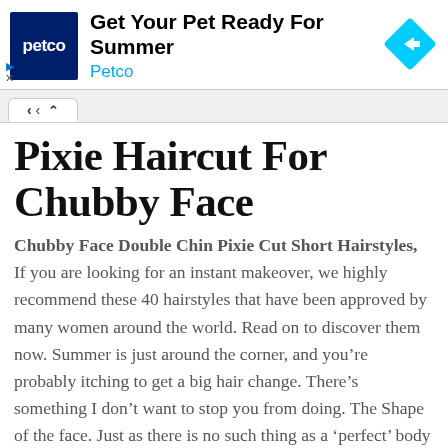[Figure (other): Petco advertisement banner with Petco logo (white text on dark blue background), headline 'Get Your Pet Ready For Summer', 'Petco' subtitle in blue, and a cyan diamond-shaped navigation arrow icon on the right.]
Pixie Haircut For Chubby Face
Chubby Face Double Chin Pixie Cut Short Hairstyles, If you are looking for an instant makeover, we highly recommend these 40 hairstyles that have been approved by many women around the world. Read on to discover them now. Summer is just around the corner, and you’re probably itching to get a big hair change. There’s something I don’t want to stop you from doing. The Shape of the face. Just as there is no such thing as a ‘perfect’ body shape, the same goes for face shapes, says